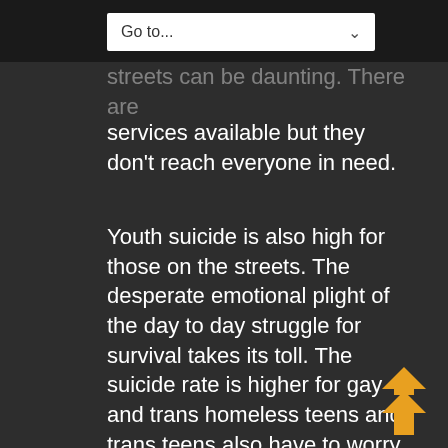streets can be daunting. There are services available but they don't reach everyone in need.
Youth suicide is also high for those on the streets. The desperate emotional plight of the day to day struggle for survival takes its toll. The suicide rate is higher for gay and trans homeless teens and trans teens also have to worry about staying safe while they present as their desired sex. MTF trans youth and transwomen are particularly at risk and sometimes they find work in the sex industry. This is particularly dangerous.